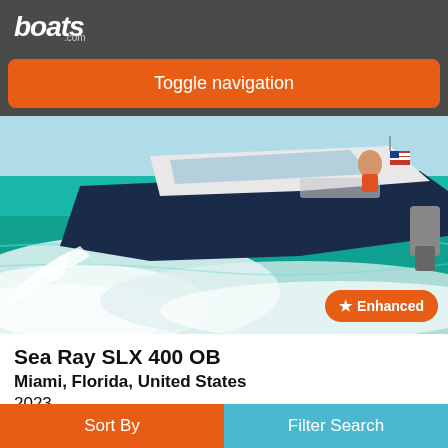boats.com
Toggle navigation
[Figure (photo): A Sea Ray SLX 400 OB speedboat speeding through teal/turquoise water, creating large white bow waves, with people on board and an American flag visible at the stern.]
Sea Ray SLX 400 OB
Miami, Florida, United States
2023
Request Price
Introducing the SLX 400 OB, "The Entertainer", an outboard variant of the Innovation Award-winning SLX 400, with massive capacity, deluxe
Sort By   Filter Search